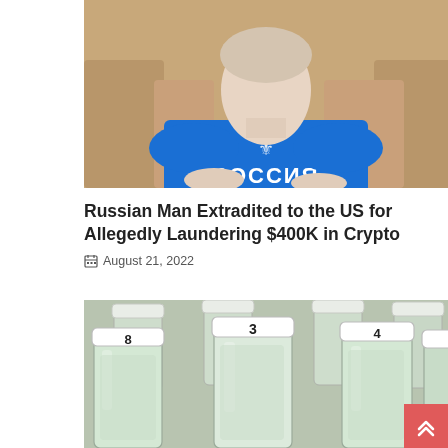[Figure (photo): Person wearing a blue Russia (РОССИЯ) t-shirt with double-headed eagle emblem, seated in front of wooden chairs]
Russian Man Extradited to the US for Allegedly Laundering $400K in Crypto
August 21, 2022
[Figure (photo): Multiple small clear plastic bottles with white caps, some caps have numbers written on them (8, 3, 4)]